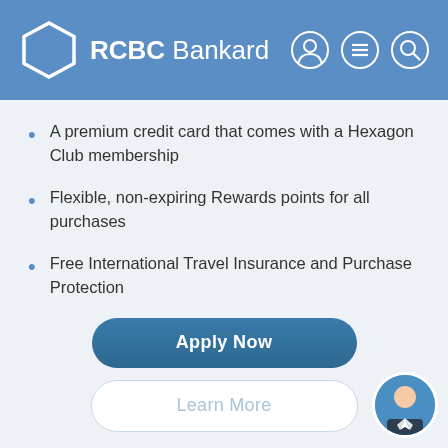RCBC Bankard
A premium credit card that comes with a Hexagon Club membership
Flexible, non-expiring Rewards points for all purchases
Free International Travel Insurance and Purchase Protection
Apply Now
Learn More
[Figure (photo): Circular avatar of a young man in a suit, used as a chat support button]